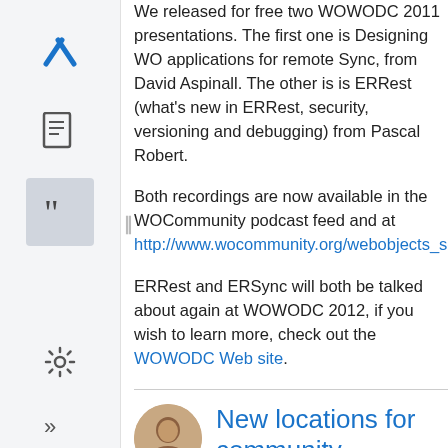We released for free two WOWODC 2011 presentations. The first one is Designing WO applications for remote Sync, from David Aspinall. The other is is ERRest (what's new in ERRest, security, versioning and debugging) from Pascal Robert.
Both recordings are now available in the WOCommunity podcast feed and at http://www.wocommunity.org/webobjects_scre
ERRest and ERSync will both be talked about again at WOWODC 2012, if you wish to learn more, check out the WOWODC Web site.
New locations for community